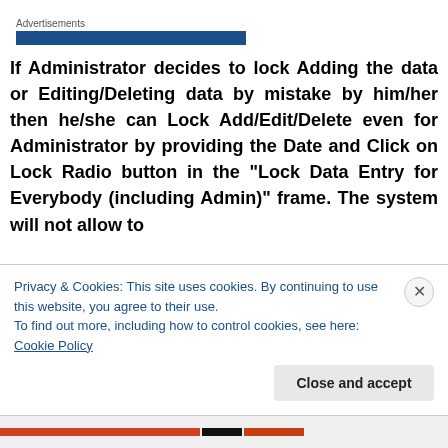Advertisements
If Administrator decides to lock Adding the data or Editing/Deleting data by mistake by him/her then he/she can Lock Add/Edit/Delete even for Administrator by providing the Date and Click on Lock Radio button in the “Lock Data Entry for Everybody (including Admin)” frame.  The system will not allow to
Privacy & Cookies: This site uses cookies. By continuing to use this website, you agree to their use.
To find out more, including how to control cookies, see here: Cookie Policy
Close and accept